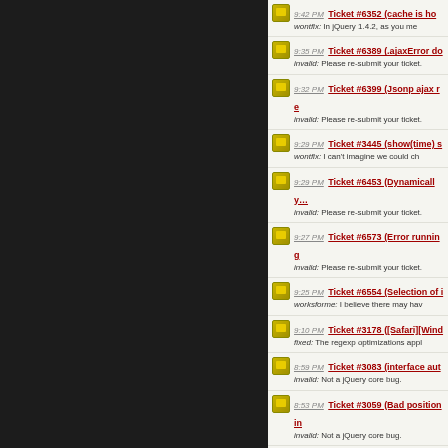9:42 PM Ticket #6352 (cache is hot... wontfix: In jQuery 1.4.2, as you men...
9:35 PM Ticket #6389 (.ajaxError do... invalid: Please re-submit your ticket...
9:32 PM Ticket #6399 (Jsonp ajax re... invalid: Please re-submit your ticket...
9:29 PM Ticket #3445 (show(time) s... wontfix: I can't imagine we could ch...
9:29 PM Ticket #6453 (Dynamically... invalid: Please re-submit your ticket...
9:27 PM Ticket #6573 (Error running... invalid: Please re-submit your ticket...
9:25 PM Ticket #6554 (Selection of i... worksforme: I believe there may hav...
9:10 PM Ticket #3178 ([Safari][Wind... fixed: The regexp optimizations appl...
8:59 PM Ticket #3083 (interface aut... invalid: Not a jQuery core bug.
8:53 PM Ticket #3059 (Bad positionin... invalid: Not a jQuery core bug.
8:58 PM Ticket #3044 (Use an other... invalid: Not a jQuery core bug.
8:57 PM Ticket #3043 (interface ima... invalid: Not a jQuery core bug.
8:56 PM Ticket #3047 (Interface anc... invalid
8:52 PM Ticket #2980 (ui.resizable o... invalid: Not a jQuery core bug.